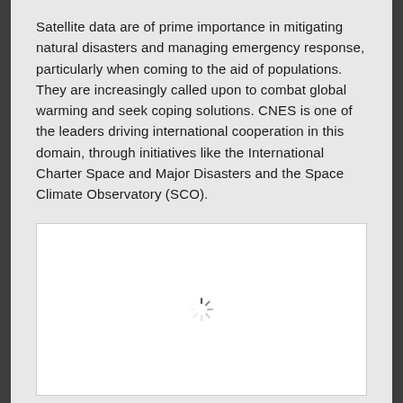Satellite data are of prime importance in mitigating natural disasters and managing emergency response, particularly when coming to the aid of populations. They are increasingly called upon to combat global warming and seek coping solutions. CNES is one of the leaders driving international cooperation in this domain, through initiatives like the International Charter Space and Major Disasters and the Space Climate Observatory (SCO).
[Figure (other): A white image placeholder with a loading spinner icon in the center, indicating an image that is still loading.]